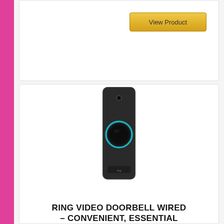[Figure (other): Gold 'View Product' button in upper right of top card]
[Figure (photo): Ring Video Doorbell Wired device — slim black rectangular unit with teal-lit circular button and camera lens]
RING VIDEO DOORBELL WIRED – CONVENIENT, ESSENTIAL